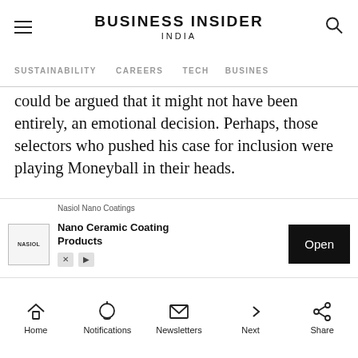BUSINESS INSIDER INDIA
SUSTAINABILITY   CAREERS   TECH   BUSINESS
could be argued that it might not have been entirely, an emotional decision. Perhaps, those selectors who pushed his case for inclusion were playing Moneyball in their heads.
Let me elaborate&hellip;
Although conventional wisdom suggests relying on batting averages or runs scored to determine who the better batsmen is, the Moneyball appro... ctive metri...
[Figure (screenshot): Advertisement overlay for Nasiol Nano Coatings - Nano Ceramic Coating Products with Open button]
Home   Notifications   Newsletters   Next   Share